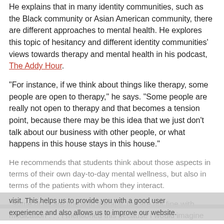He explains that in many identity communities, such as the Black community or Asian American community, there are different approaches to mental health. He explores this topic of hesitancy and different identity communities' views towards therapy and mental health in his podcast, The Addy Hour.
"For instance, if we think about things like therapy, some people are open to therapy," he says. "Some people are really not open to therapy and that becomes a tension point, because there may be this idea that we just don't talk about our business with other people, or what happens in this house stays in this house."
He recommends that students think about those aspects in terms of their own day-to-day mental wellness, but also in terms of the patients with whom they interact.
"Some of us are fine with therapy, but are not fine with medication . . . I mentioned this because I would imagine that [these are] the types of things that may come up in your profession at some point," he says. "From what you all have told me the patients haven't asked direct questions about some of the mental-health-related medications, but it's something to be aware of that could also come up."